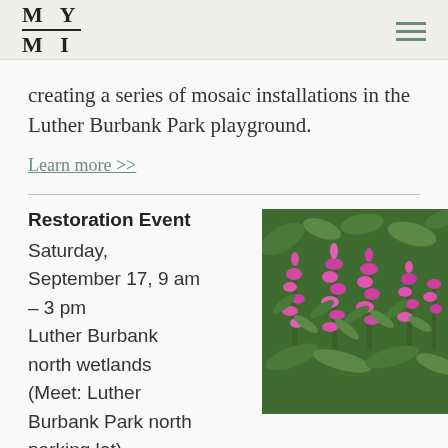MY MI
creating a series of mosaic installations in the Luther Burbank Park playground.
Learn more >>
Restoration Event
Saturday, September 17, 9 am – 3 pm Luther Burbank north wetlands (Meet: Luther Burbank Park north parking lot)
[Figure (photo): Photo of tall pink/magenta flowering plants (fireweed or similar) with green foliage in the background]